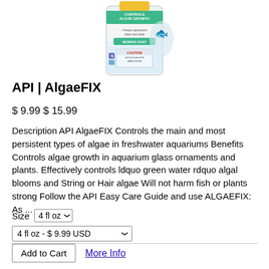[Figure (photo): Product bottle of API AlgaeFIX aquarium algae control solution with teal/green label showing 'Controls Algae Growth', 'Works Fast', and 'Caution' sections]
API | AlgaeFIX
$ 9.99 $ 15.99
Description API AlgaeFIX Controls the main and most persistent types of algae in freshwater aquariums Benefits Controls algae growth in aquarium glass ornaments and plants. Effectively controls ldquo green water rdquo algal blooms and String or Hair algae Will not harm fish or plants strong Follow the API Easy Care Guide and use ALGAEFIX: As ...
Size  4 fl oz ˅
4 fl oz - $ 9.99 USD  ˅
Add to Cart   More Info